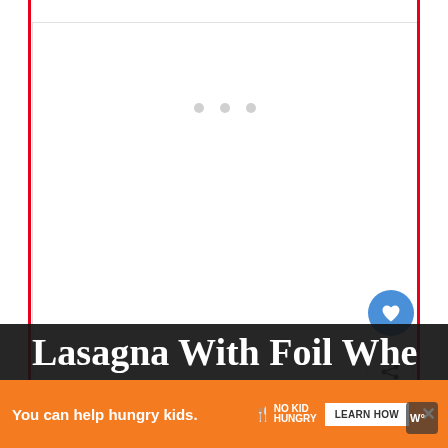[Figure (photo): Empty white image placeholder area with three gray dots indicating a loading carousel]
Should You Cover Lasagna With Foil When
[Figure (screenshot): What's Next panel showing a thumbnail of mashed potatoes and text 'What happens if you eat...']
[Figure (screenshot): Ad banner: 'You can help hungry kids. NO KID HUNGRY LEARN HOW' with close button, orange background]